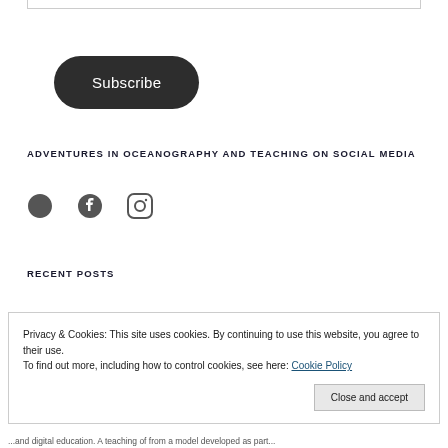[Figure (other): Subscribe button - dark rounded pill button with white text]
ADVENTURES IN OCEANOGRAPHY AND TEACHING ON SOCIAL MEDIA
[Figure (other): Social media icons - Twitter bird, Facebook circle, Instagram camera - dark grey]
RECENT POSTS
Privacy & Cookies: This site uses cookies. By continuing to use this website, you agree to their use.
To find out more, including how to control cookies, see here: Cookie Policy
Close and accept
...and digital education. A teaching of from a model developed as part...